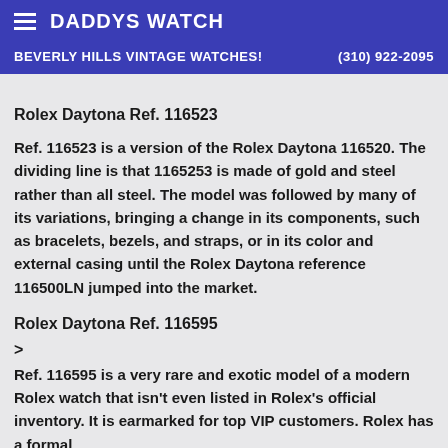DADDYS WATCH
BEVERLY HILLS VINTAGE WATCHES!  (310) 922-2095
Rolex Daytona Ref. 116523
Ref. 116523 is a version of the Rolex Daytona 116520. The dividing line is that 1165253 is made of gold and steel rather than all steel. The model was followed by many of its variations, bringing a change in its components, such as bracelets, bezels, and straps, or in its color and external casing until the Rolex Daytona reference 116500LN jumped into the market.
Rolex Daytona Ref. 116595
>
Ref. 116595 is a very rare and exotic model of a modern Rolex watch that isn't even listed in Rolex's official inventory. It is earmarked for top VIP customers. Rolex has a formal